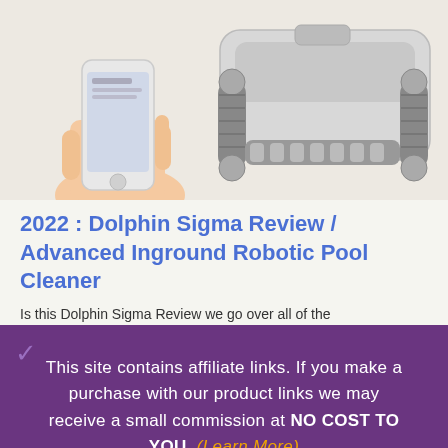[Figure (photo): Product photo showing a hand holding a smartphone on the left and a Dolphin Sigma robotic pool cleaner on the right, against a light beige background.]
2022 : Dolphin Sigma Review / Advanced Inground Robotic Pool Cleaner
Is this Dolphin Sigma Review we go over all of the
This site contains affiliate links. If you make a purchase with our product links we may receive a small commission at NO COST TO YOU. (Learn More)
CLOSE